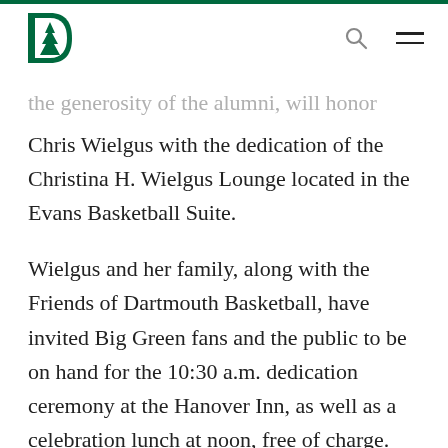Dartmouth College
the generosity of the alumni, will honor Chris Wielgus with the dedication of the Christina H. Wielgus Lounge located in the Evans Basketball Suite.
Wielgus and her family, along with the Friends of Dartmouth Basketball, have invited Big Green fans and the public to be on hand for the 10:30 a.m. dedication ceremony at the Hanover Inn, as well as a celebration lunch at noon, free of charge.